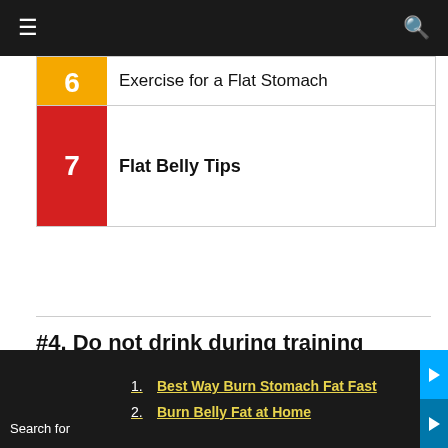≡  🔍
6  Exercise for a Flat Stomach
7  Flat Belly Tips
#4. Do not drink during training
The body constantly loses water during exercise. So do not torture your body, absolutely depriving it of water. This can lead to some bad outcomes for your
Search for  1. Best Way Burn Stomach Fat Fast  2. Burn Belly Fat at Home